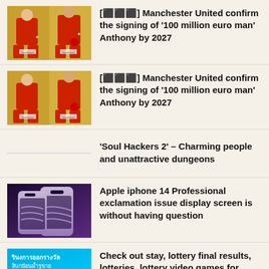[Figure (photo): Manchester United players in red jerseys against yellow background, two-panel thumbnail]
[⬛⬛⬛] Manchester United confirm the signing of ‘100 million euro man’ Anthony by 2027
[Figure (photo): Manchester United players in red jerseys against yellow background, two-panel thumbnail (duplicate)]
[⬛⬛⬛] Manchester United confirm the signing of ‘100 million euro man’ Anthony by 2027
‘Soul Hackers 2’ – Charming people and unattractive dungeons
[Figure (photo): Apple iPhone 14 Pro purple/lavender colored phones]
Apple iphone 14 Professional exclamation issue display screen is without having question
[Figure (photo): Thai lottery advertisement with blue background and Thai text]
Check out stay, lottery final results, lotteries, lottery video games for September 1, 2022